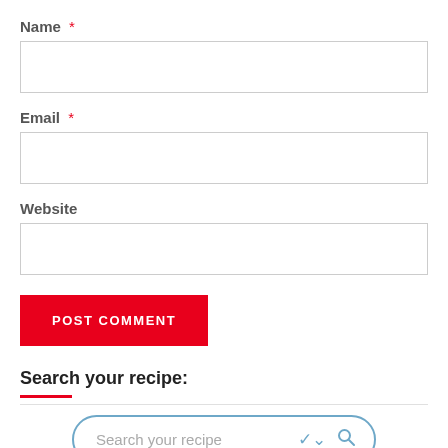Name *
[Figure (screenshot): Empty text input field for Name]
Email *
[Figure (screenshot): Empty text input field for Email]
Website
[Figure (screenshot): Empty text input field for Website]
POST COMMENT
Search your recipe:
[Figure (screenshot): Search bar with placeholder text 'Search your recipe', chevron down icon, and search magnifier icon]